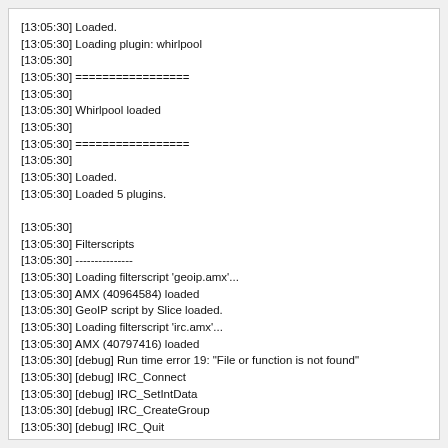[13:05:30] Loaded.
[13:05:30] Loading plugin: whirlpool
[13:05:30]
[13:05:30] =================
[13:05:30]
[13:05:30] Whirlpool loaded
[13:05:30]
[13:05:30] =================
[13:05:30]
[13:05:30] Loaded.
[13:05:30] Loaded 5 plugins.

[13:05:30]
[13:05:30] Filterscripts
[13:05:30] ---------------
[13:05:30] Loading filterscript 'geoip.amx'...
[13:05:30] AMX (40964584) loaded
[13:05:30] GeoIP script by Slice loaded.
[13:05:30] Loading filterscript 'irc.amx'...
[13:05:30] AMX (40797416) loaded
[13:05:30] [debug] Run time error 19: "File or function is not found"
[13:05:30] [debug] IRC_Connect
[13:05:30] [debug] IRC_SetIntData
[13:05:30] [debug] IRC_CreateGroup
[13:05:30] [debug] IRC_Quit
[13:05:30] [debug] IRC_DestroyGroup
[13:05:30] [debug] IRC_JoinChannel
[13:05:30] [debug] IRC_AddToGroup
[13:05:30] [debug] IRC_RemoveFromGroup